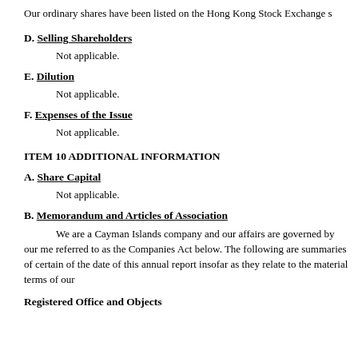Our ordinary shares have been listed on the Hong Kong Stock Exchange s
D. Selling Shareholders
Not applicable.
E. Dilution
Not applicable.
F. Expenses of the Issue
Not applicable.
ITEM 10 ADDITIONAL INFORMATION
A. Share Capital
Not applicable.
B. Memorandum and Articles of Association
We are a Cayman Islands company and our affairs are governed by our me referred to as the Companies Act below. The following are summaries of certain of the date of this annual report insofar as they relate to the material terms of our
Registered Office and Objects